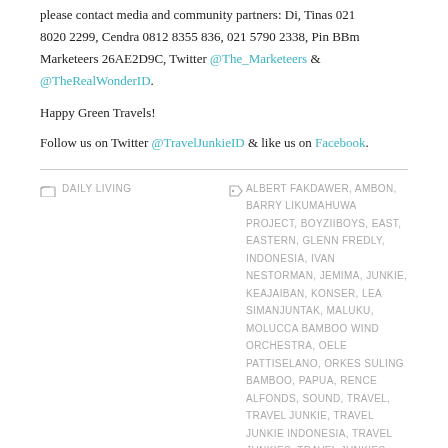please contact media and community partners: Di, Tinas 021 8020 2299, Cendra 0812 8355 836, 021 5790 2338, Pin BBm Marketeers 26AE2D9C, Twitter @The_Marketeers & @TheRealWonderID.
Happy Green Travels!
Follow us on Twitter @TravelJunkieID & like us on Facebook.
DAILY LIVING   ALBERT FAKDAWER, AMBON, BARRY LIKUMAHUWA PROJECT, BOYZIIBOYS, EAST, EASTERN, GLENN FREDLY, INDONESIA, IVAN NESTORMAN, JEMIMA, JUNKIE, KEAJAIBAN, KONSER, LEA SIMANJUNTAK, MALUKU, MOLUCCA BAMBOO WIND ORCHESTRA, OELE PATTISELANO, ORKES SULING BAMBOO, PAPUA, RENCE ALFONDS, SOUND, TRAVEL, TRAVEL JUNKIE, TRAVEL JUNKIE INDONESIA, TRAVEL JUNKIES, TRAVEL JUNKIES INDONESIA, VOL 2
PREVIOUS ARTICLE
45 HOW TO TRAVEL LIKE A HIPPIE
NEXT ARTICLE
[VIDEO] SOUND FROM THE EAST BY THE SOCIAL TRAVELER